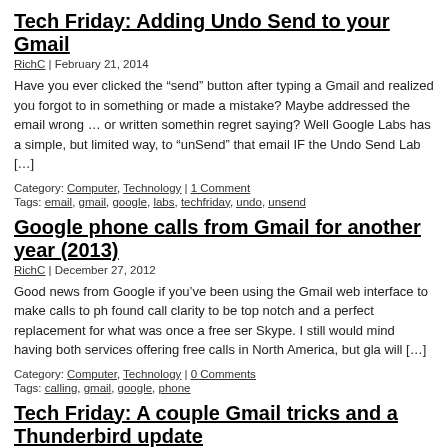Tech Friday: Adding Undo Send to your Gmail
RichC | February 21, 2014
Have you ever clicked the “send” button after typing a Gmail and realized you forgot to in something or made a mistake? Maybe addressed the email wrong … or written somethin regret saying? Well Google Labs has a simple, but limited way, to “unSend” that email IF the Undo Send Lab […]
Category: Computer, Technology | 1 Comment
Tags: email, gmail, google, labs, techfriday, undo, unsend
Google phone calls from Gmail for another year (2013)
RichC | December 27, 2012
Good news from Google if you’ve been using the Gmail web interface to make calls to ph found call clarity to be top notch and a perfect replacement for what was once a free ser Skype. I still would mind having both services offering free calls in North America, but gla will […]
Category: Computer, Technology | 0 Comments
Tags: calling, gmail, google, phone
Tech Friday: A couple Gmail tricks and a Thunderbird update
RichC | February 3, 2012
I’ve been using Gmail for years and recently found a hidden gem for filtering email. It wo particularly well for me while using the Mozilla client Thunderbird, although is equally use other client or the Google’s web client (BTW the upgrade to 10.0 was pushed out this pa Without getting overly detailed […]